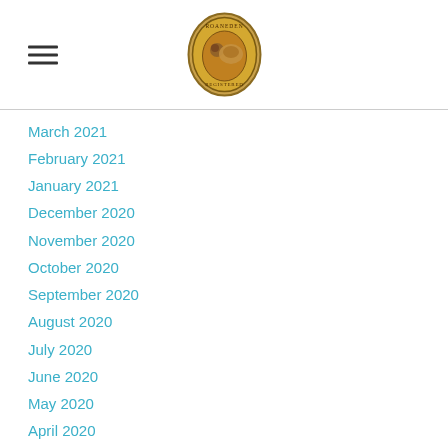Roaneden Registered logo and hamburger menu
March 2021
February 2021
January 2021
December 2020
November 2020
October 2020
September 2020
August 2020
July 2020
June 2020
May 2020
April 2020
March 2020
February 2020
January 2020
November 2019
October 2019